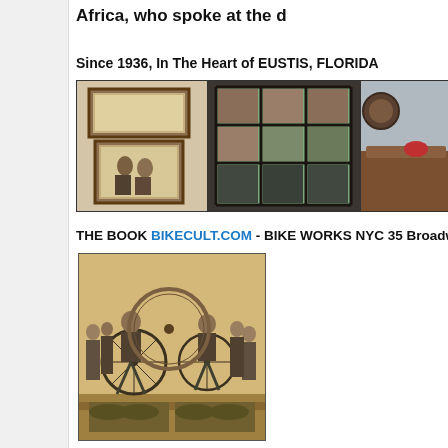Africa, who spoke at the d
Since 1936, In The Heart of EUSTIS, FLORIDA
[Figure (photo): Three-panel photo strip: left panel shows framed artwork/paintings on a wall, center panel shows a large window with a view of a brick building exterior, right panel shows a wooden table or furniture piece indoors.]
THE BOOK BIKECULT.COM - BIKE WORKS NYC 35 Broadway, Br
[Figure (photo): Vintage sepia-toned photograph showing two young men riding bicycles on stationary rollers/trainers, with several other people standing behind them watching. Industrial-era setting.]